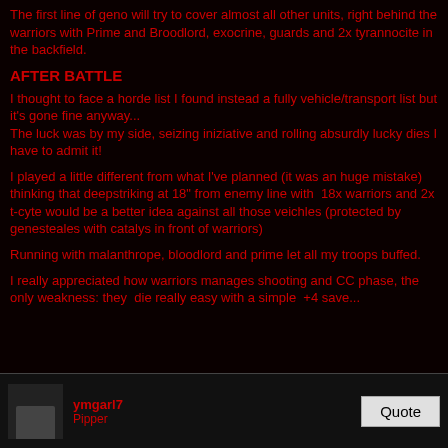The first line of geno will try to cover almost all other units, right behind the warriors with Prime and Broodlord, exocrine, guards and 2x tyrannocite in the backfield.
AFTER BATTLE
I thought to face a horde list I found instead a fully vehicle/transport list but it's gone fine anyway...
The luck was by my side, seizing iniziative and rolling absurdly lucky dies I have to admit it!
I played a little different from what I've planned (it was an huge mistake) thinking that deepstriking at 18" from enemy line with  18x warriors and 2x t-cyte would be a better idea against all those veichles (protected by genesteales with catalys in front of warriors)
Running with malanthrope, bloodlord and prime let all my troops buffed.
I really appreciated how warriors manages shooting and CC phase, the only weakness: they  die really easy with a simple  +4 save...
ymgarl7
Pinner